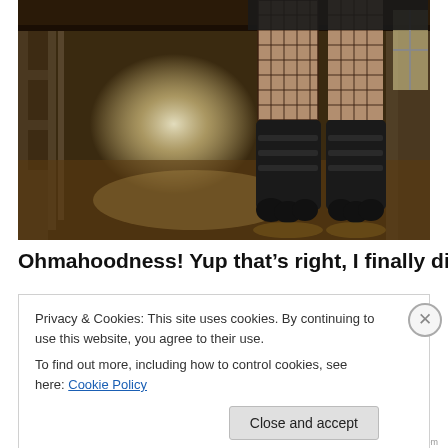[Figure (photo): A person standing in an abandoned industrial corridor wearing fishnet stockings and large black platform boots with claw-like toes. The hallway has a bright light at the far end.]
Ohmahoodness! Yup that's right, I finally did it. I've created
Privacy & Cookies: This site uses cookies. By continuing to use this website, you agree to their use.
To find out more, including how to control cookies, see here: Cookie Policy
Close and accept